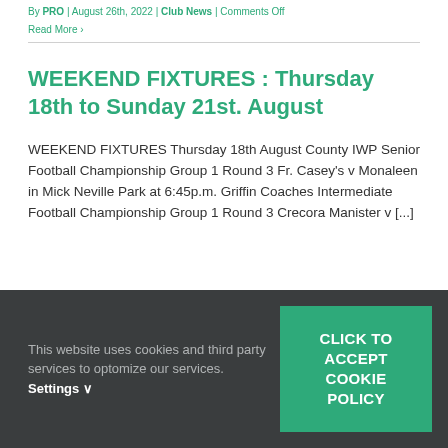By PRO | August 26th, 2022 | Club News | Comments Off
Read More ›
WEEKEND FIXTURES : Thursday 18th to Sunday 21st. August
WEEKEND FIXTURES Thursday 18th August County IWP Senior Football Championship Group 1 Round 3 Fr. Casey's v Monaleen in Mick Neville Park at 6:45p.m. Griffin Coaches Intermediate Football Championship Group 1 Round 3 Crecora Manister v [...]
This website uses cookies and third party services to optomize our services. Settings ∨
CLICK TO ACCEPT COOKIE POLICY